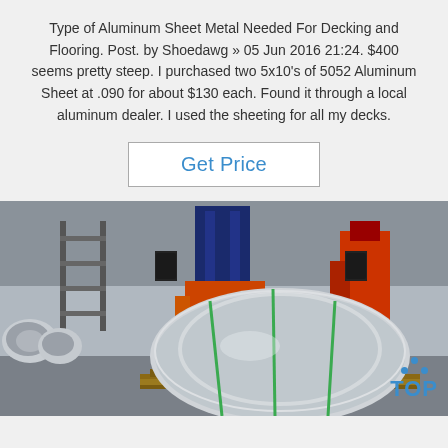Type of Aluminum Sheet Metal Needed For Decking and Flooring. Post. by Shoedawg » 05 Jun 2016 21:24. $400 seems pretty steep. I purchased two 5x10's of 5052 Aluminum Sheet at .090 for about $130 each. Found it through a local aluminum dealer. I used the sheeting for all my decks.
Get Price
[Figure (photo): Industrial warehouse with large rolls of aluminum sheet metal on a wooden pallet, a forklift and heavy machinery in the background.]